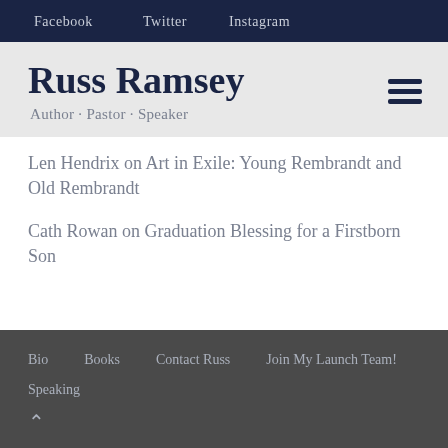Facebook  Twitter  Instagram
Russ Ramsey
Author · Pastor · Speaker
Len Hendrix on Art in Exile: Young Rembrandt and Old Rembrandt
Cath Rowan on Graduation Blessing for a Firstborn Son
Bio  Books  Contact Russ  Join My Launch Team!  Speaking  ∧